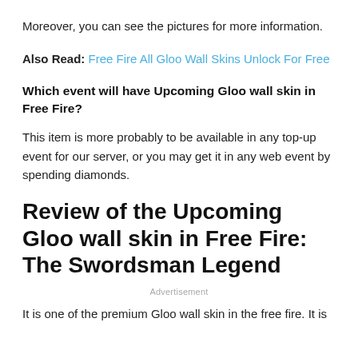Moreover, you can see the pictures for more information.
Also Read: Free Fire All Gloo Wall Skins Unlock For Free
Which event will have Upcoming Gloo wall skin in Free Fire?
This item is more probably to be available in any top-up event for our server, or you may get it in any web event by spending diamonds.
Review of the Upcoming Gloo wall skin in Free Fire: The Swordsman Legend
Advertisement
It is one of the premium Gloo wall skin in the free fire. It is